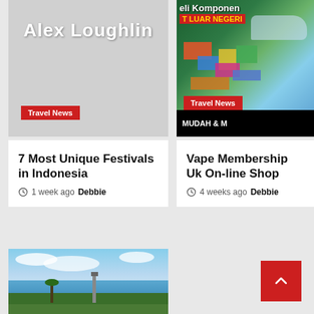[Figure (photo): Grey placeholder image with white bold text 'Alex Loughlin' overlaid, red Travel News badge at bottom left]
[Figure (photo): Photo of electronics/components with colorful tags, aircraft visible, Indonesian text 'eli Komponen LUAR NEGERI' and 'MUDAH & M' overlaid in green/red/yellow, black bar at bottom, red Travel News badge]
7 Most Unique Festivals in Indonesia
1 week ago  Debbie
Vape Membership Uk On-line Shop
4 weeks ago  Debbie
[Figure (photo): Coastal scene with blue sky, clouds, sea, palm trees, a lighthouse or tower, tropical landscape]